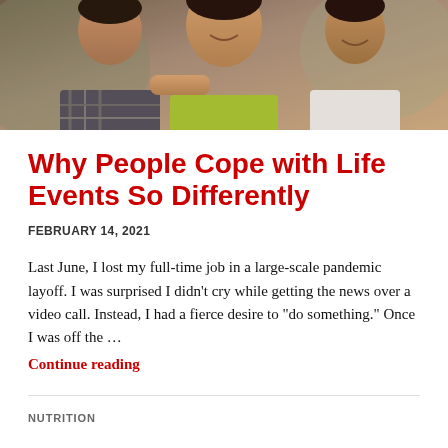[Figure (photo): Family photo showing three people smiling, appears to be a mother and two children of South Asian descent]
Why People Cope with Life Events So Differently
FEBRUARY 14, 2021
Last June, I lost my full-time job in a large-scale pandemic layoff. I was surprised I didn’t cry while getting the news over a video call. Instead, I had a fierce desire to “do something.” Once I was off the ...
Continue reading
NUTRITION